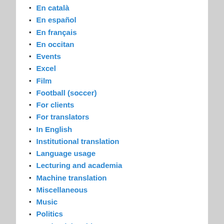En català
En español
En français
En occitan
Events
Excel
Film
Football (soccer)
For clients
For translators
In English
Institutional translation
Language usage
Lecturing and academia
Machine translation
Miscellaneous
Music
Politics
Productivity videos
Pronunciation
Resources